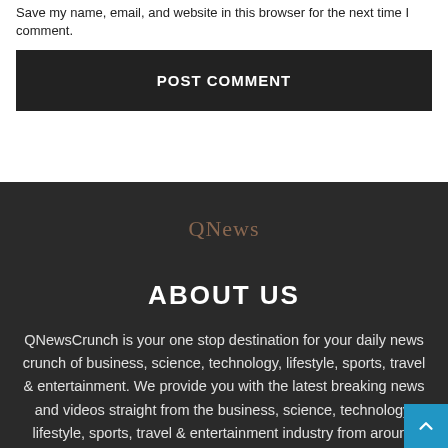Save my name, email, and website in this browser for the next time I comment.
POST COMMENT
QNews
ABOUT US
QNewsCrunch is your one stop destination for your daily news crunch of business, science, technology, lifestyle, sports, travel & entertainment. We provide you with the latest breaking news and videos straight from the business, science, technology, lifestyle, sports, travel & entertainment industry from around